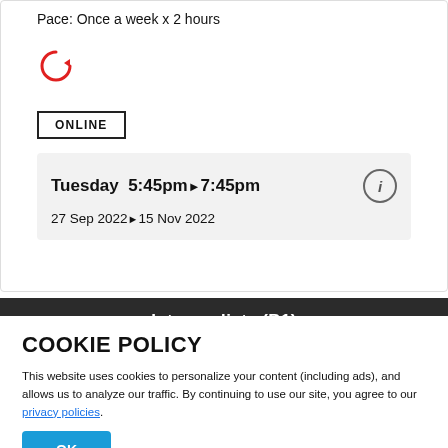Pace: Once a week x 2 hours
[Figure (illustration): Red circular reload/refresh icon]
ONLINE
Tuesday  5:45pm ▶ 7:45pm
27 Sep 2022 ▶ 15 Nov 2022
Intermediate (B1)
COOKIE POLICY
This website uses cookies to personalize your content (including ads), and allows us to analyze our traffic. By continuing to use our site, you agree to our privacy policies.
OK